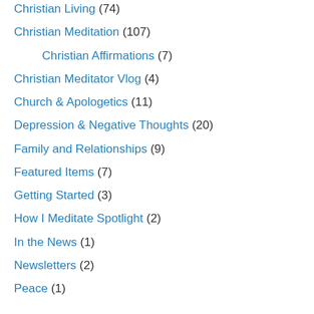Christian Living (74)
Christian Meditation (107)
Christian Affirmations (7)
Christian Meditator Vlog (4)
Church & Apologetics (11)
Depression & Negative Thoughts (20)
Family and Relationships (9)
Featured Items (7)
Getting Started (3)
How I Meditate Spotlight (2)
In the News (1)
Newsletters (2)
Peace (1)